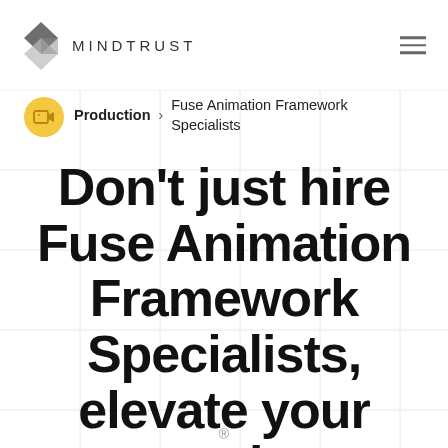MINDTRUST
Production > Fuse Animation Framework Specialists
Don't just hire Fuse Animation Framework Specialists, elevate your creative